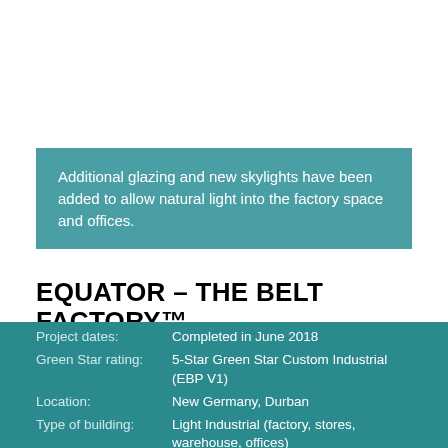Additional glazing and new skylights have been added to allow natural light into the factory space and offices.
EQUATOR – THE BELT FACTORY™
| Field | Value |
| --- | --- |
| Project dates: | Completed in June 2018 |
| Green Star rating: | 5-Star Green Star Custom Industrial (EBP V1) |
| Location: | New Germany, Durban |
| Type of building: | Light Industrial (factory, stores, warehouse, offices) |
| Building size: | 4 440m² |